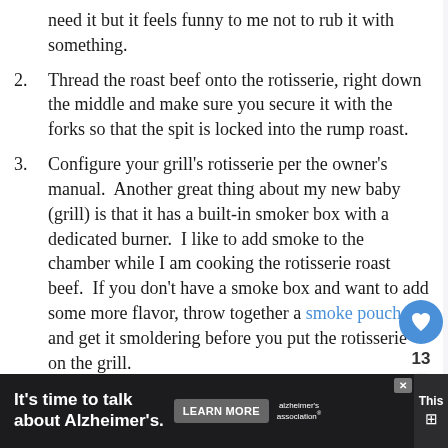need it but it feels funny to me not to rub it with something.
2. Thread the roast beef onto the rotisserie, right down the middle and make sure you secure it with the forks so that the spit is locked into the rump roast.
3. Configure your grill's rotisserie per the owner's manual.  Another great thing about my new baby (grill) is that it has a built-in smoker box with a dedicated burner.  I like to add smoke to the chamber while I am cooking the rotisserie roast beef.  If you don't have a smoke box and want to add some more flavor, throw together a smoke pouch and get it smoldering before you put the rotisserie on the grill.
4. Make sure you place a pan under the roast to catch those drippings!
5. Turn on the rotisserie motor and sit back while your
[Figure (screenshot): Alzheimer's awareness advertisement banner with 'It's time to talk about Alzheimer's.' text, a Learn More button, and the Alzheimer's Association logo.]